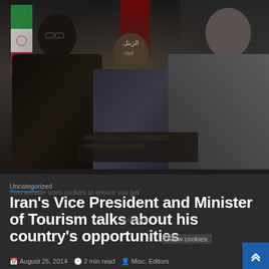[Figure (photo): Three men at a formal event shaking hands or exchanging documents at a conference table. Flags visible in the background including Iranian flag. Dark backdrop with LED screen pattern.]
Uncategorized
Iran's Vice President and Minister of Tourism talks about his country's opportunities
August 25, 2014   2 min read   Misc. Editors